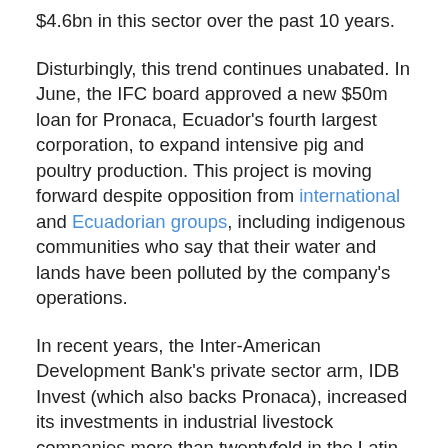$4.6bn in this sector over the past 10 years.
Disturbingly, this trend continues unabated. In June, the IFC board approved a new $50m loan for Pronaca, Ecuador's fourth largest corporation, to expand intensive pig and poultry production. This project is moving forward despite opposition from international and Ecuadorian groups, including indigenous communities who say that their water and lands have been polluted by the company's operations.
In recent years, the Inter-American Development Bank's private sector arm, IDB Invest (which also backs Pronaca), increased its investments in industrial livestock companies more than twentyfold in the Latin America and Caribbean region, from approximately $15m between 2011 and 2017 to around $500m from 2018 to present.